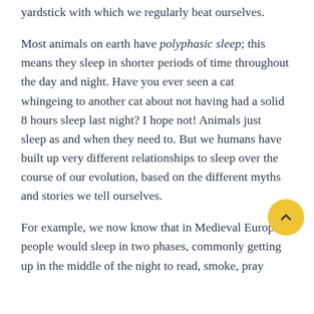yardstick with which we regularly beat ourselves.
Most animals on earth have polyphasic sleep; this means they sleep in shorter periods of time throughout the day and night. Have you ever seen a cat whingeing to another cat about not having had a solid 8 hours sleep last night? I hope not! Animals just sleep as and when they need to. But we humans have built up very different relationships to sleep over the course of our evolution, based on the different myths and stories we tell ourselves.
For example, we now know that in Medieval Europe people would sleep in two phases, commonly getting up in the middle of the night to read, smoke, pray